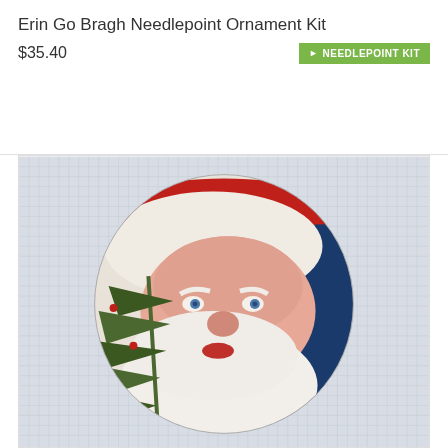Erin Go Bragh Needlepoint Ornament Kit
$35.40
[Figure (photo): Needlepoint ornament canvas showing a circular Santa Claus face design with a red hat with white trim, blue background on right side, rosy cheeks, blue eyes, white beard, red lips, and green Christmas tree branches on the left side. The canvas shows the grid/mesh texture of needlepoint fabric.]